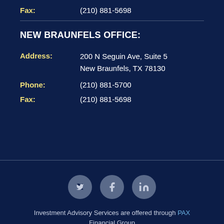Fax: (210) 881-5698
NEW BRAUNFELS OFFICE:
Address: 200 N Seguin Ave, Suite 5 New Braunfels, TX 78130
Phone: (210) 881-5700
Fax: (210) 881-5698
[Figure (infographic): Social media icons: Twitter, Facebook, LinkedIn in grey circles]
Investment Advisory Services are offered through PAX Financial Group